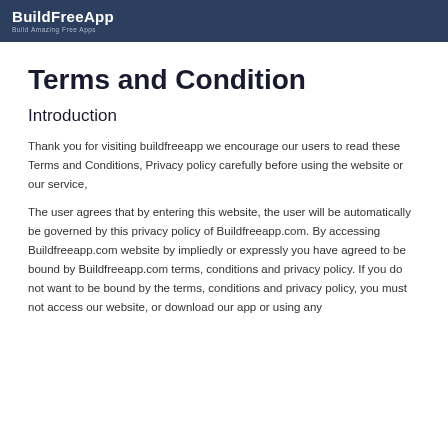BuildFreeApp
Terms and Condition
Introduction
Thank you for visiting buildfreeapp we encourage our users to read these Terms and Conditions, Privacy policy carefully before using the website or our service,
The user agrees that by entering this website, the user will be automatically be governed by this privacy policy of Buildfreeapp.com. By accessing Buildfreeapp.com website by impliedly or expressly you have agreed to be bound by Buildfreeapp.com terms, conditions and privacy policy. If you do not want to be bound by the terms, conditions and privacy policy, you must not access our website, or download our app or using any